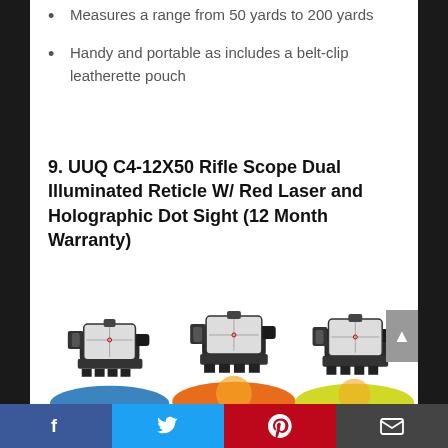Measures a range from 50 yards to 200 yards
Handy and portable as includes a belt-clip leatherette pouch
9. UUQ C4-12X50 Rifle Scope Dual Illuminated Reticle W/ Red Laser and Holographic Dot Sight (12 Month Warranty)
[Figure (photo): Three rifle scope holographic dot sight products shown side by side with yellow target backgrounds]
Social share buttons: Facebook, Twitter, Pinterest, Email